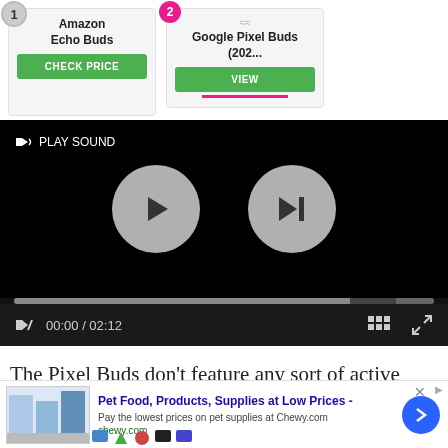[Figure (screenshot): Product comparison bar showing rank 1 Amazon Echo Buds with CHECK PRICE button and rank 2 Google Pixel Buds (202... with VIEW button and pink underline]
[Figure (screenshot): Video player UI with black background, PLAY SOUND label, large play button circle, skip button circle, progress bar, mute button, time display 00:00 / 02:12, grid icon, fullscreen icon]
The Pixel Buds don't feature any sort of active noise cancelation or noise reduction. They rely on passive
[Figure (screenshot): Advertisement banner: Pet Food, Products, Supplies at Low Prices - Pay the lowest prices on pet supplies at Chewy.com, chewy.com, with product images and blue arrow button]